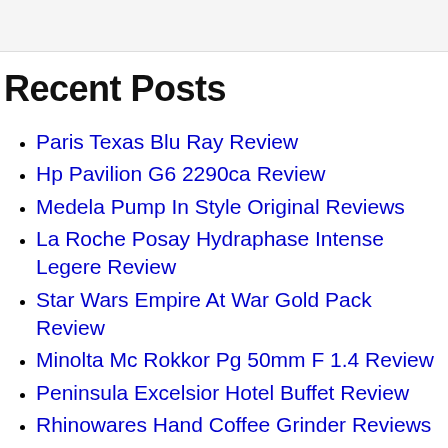Recent Posts
Paris Texas Blu Ray Review
Hp Pavilion G6 2290ca Review
Medela Pump In Style Original Reviews
La Roche Posay Hydraphase Intense Legere Review
Star Wars Empire At War Gold Pack Review
Minolta Mc Rokkor Pg 50mm F 1.4 Review
Peninsula Excelsior Hotel Buffet Review
Rhinowares Hand Coffee Grinder Reviews
Miles Motel Mesa Az Review
Les Paul Less Plus P90 Review